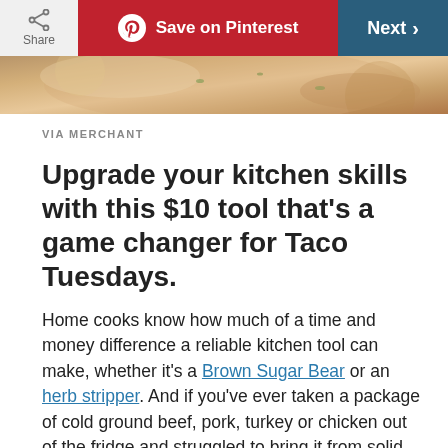Share | Save on Pinterest | Next >
[Figure (photo): Partial view of a food dish, likely taco-related ingredients]
VIA MERCHANT
Upgrade your kitchen skills with this $10 tool that's a game changer for Taco Tuesdays.
Home cooks know how much of a time and money difference a reliable kitchen tool can make, whether it's a Brown Sugar Bear or an herb stripper. And if you've ever taken a package of cold ground beef, pork, turkey or chicken out of the fridge and struggled to bring it from solid block form to consistently even